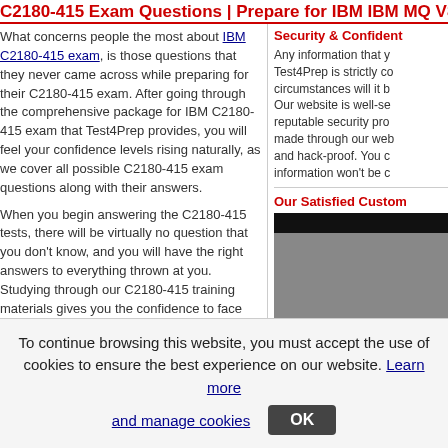C2180-415 Exam Questions | Prepare for IBM IBM MQ V8.0, Solution
What concerns people the most about IBM C2180-415 exam, is those questions that they never came across while preparing for their C2180-415 exam. After going through the comprehensive package for IBM C2180-415 exam that Test4Prep provides, you will feel your confidence levels rising naturally, as we cover all possible C2180-415 exam questions along with their answers.
When you begin answering the C2180-415 tests, there will be virtually no question that you don't know, and you will have the right answers to everything thrown at you. Studying through our C2180-415 training materials gives you the confidence to face even the toughest C2180-415 certification test.
In a typical C2180-415 test, you are asked question of various kinds in different formats. The most common types of questions are multiple choice questions, procedural questions, case studies, theoretical questions and calculations among others. After reviewing the C2180-415 exam questions and answers form our training materials
Security & Confident
Any information that y Test4Prep is strictly co circumstances will it b Our website is well-se reputable security pro made through our web and hack-proof. You c information won't be c
Our Satisfied Custom
[Figure (photo): Dark banner image with grey gradient area below, representing a satisfied customers section image]
To continue browsing this website, you must accept the use of cookies to ensure the best experience on our website. Learn more and manage cookies
OK